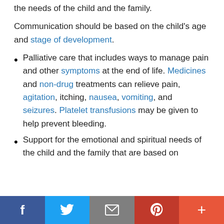the needs of the child and the family.
Communication should be based on the child's age and stage of development.
Palliative care that includes ways to manage pain and other symptoms at the end of life. Medicines and non-drug treatments can relieve pain, agitation, itching, nausea, vomiting, and seizures. Platelet transfusions may be given to help prevent bleeding.
Support for the emotional and spiritual needs of the child and the family that are based on
f  [twitter]  [email]  p  +